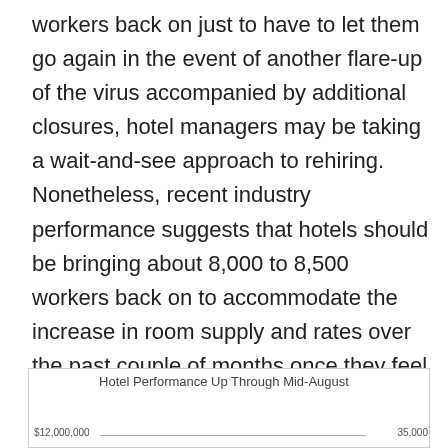workers back on just to have to let them go again in the event of another flare-up of the virus accompanied by additional closures, hotel managers may be taking a wait-and-see approach to rehiring. Nonetheless, recent industry performance suggests that hotels should be bringing about 8,000 to 8,500 workers back on to accommodate the increase in room supply and rates over the past couple of months once they feel it's safe to do so.
[Figure (other): Chart box partially visible at bottom of page showing 'Hotel Performance Up Through Mid-August' with y-axis labels $12,000,000 on the left and 35,000 on the right, and a horizontal axis line.]